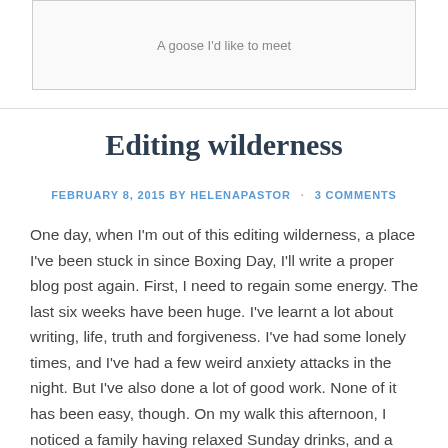A goose I'd like to meet
Editing wilderness
FEBRUARY 8, 2015 BY HELENAPASTOR · 3 COMMENTS
One day, when I'm out of this editing wilderness, a place I've been stuck in since Boxing Day, I'll write a proper blog post again. First, I need to regain some energy. The last six weeks have been huge. I've learnt a lot about writing, life, truth and forgiveness. I've had some lonely times, and I've had a few weird anxiety attacks in the night. But I've also done a lot of good work. None of it has been easy, though. On my walk this afternoon, I noticed a family having relaxed Sunday drinks, and a woman was laughing – loudly